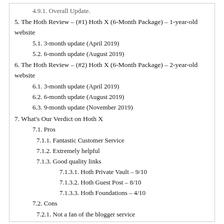4.9.1. Overall Update.
5. The Hoth Review – (#1) Hoth X (6-Month Package) – 1-year-old website
5.1. 3-month update (April 2019)
5.2. 6-month update (August 2019)
6. The Hoth Review – (#2) Hoth X (6-Month Package) – 2-year-old website
6.1. 3-month update (April 2019)
6.2. 6-month update (August 2019)
6.3. 9-month update (November 2019)
7. What's Our Verdict on Hoth X
7.1. Pros
7.1.1. Fantastic Customer Service
7.1.2. Extremely helpful
7.1.3. Good quality links
7.1.3.1. Hoth Private Vault – 9/10
7.1.3.2. Hoth Guest Post – 8/10
7.1.3.3. Hoth Foundations – 4/10
7.2. Cons
7.2.1. Not a fan of the blogger service